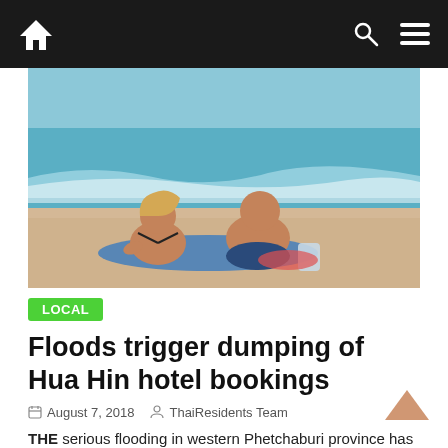Navigation bar with home, search, and menu icons
[Figure (photo): Two people (a woman in a black bikini and a bald man) sitting on a sandy beach with ocean waves behind them]
LOCAL
Floods trigger dumping of Hua Hin hotel bookings
August 7, 2018   ThaiResidents Team
THE serious flooding in western Phetchaburi province has led to a large number of tourists cancelling their Hua Hin and
Read more